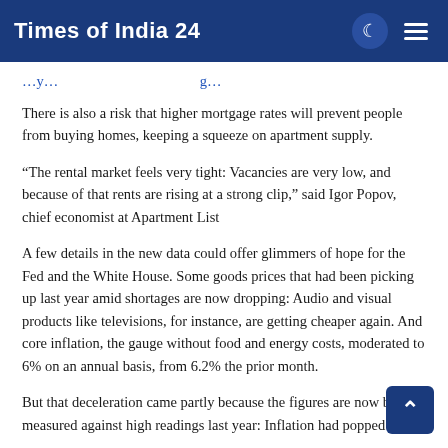Times of India 24
There is also a risk that higher mortgage rates will prevent people from buying homes, keeping a squeeze on apartment supply.
“The rental market feels very tight: Vacancies are very low, and because of that rents are rising at a strong clip,” said Igor Popov, chief economist at Apartment List
A few details in the new data could offer glimmers of hope for the Fed and the White House. Some goods prices that had been picking up last year amid shortages are now dropping: Audio and visual products like televisions, for instance, are getting cheaper again. And core inflation, the gauge without food and energy costs, moderated to 6% on an annual basis, from 6.2% the prior month.
But that deceleration came partly because the figures are now being measured against high readings last year: Inflation had popped in